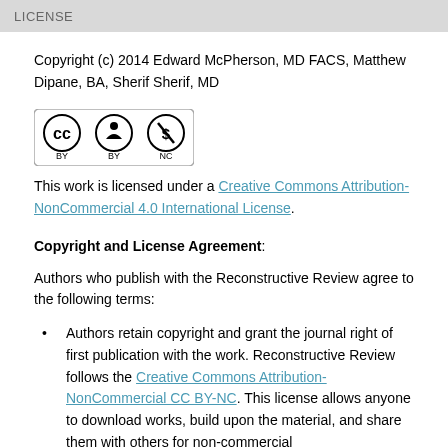LICENSE
Copyright (c) 2014 Edward McPherson, MD FACS, Matthew Dipane, BA, Sherif Sherif, MD
[Figure (logo): Creative Commons BY-NC license badge with CC, BY, and NC icons]
This work is licensed under a Creative Commons Attribution-NonCommercial 4.0 International License.
Copyright and License Agreement:
Authors who publish with the Reconstructive Review agree to the following terms:
Authors retain copyright and grant the journal right of first publication with the work. Reconstructive Review follows the Creative Commons Attribution-NonCommercial CC BY-NC. This license allows anyone to download works, build upon the material, and share them with others for non-commercial purposes as long as they credit the original author...